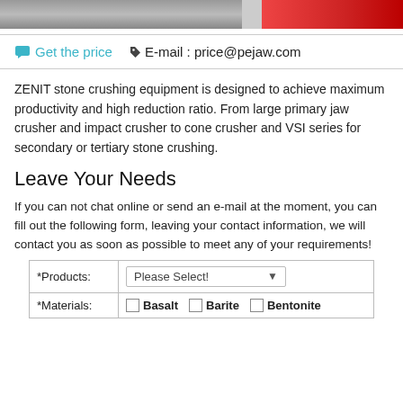[Figure (photo): Partial view of a cropped photo strip showing construction/industrial machinery and a red Toyota vehicle]
Get the price   E-mail : price@pejaw.com
ZENIT stone crushing equipment is designed to achieve maximum productivity and high reduction ratio. From large primary jaw crusher and impact crusher to cone crusher and VSI series for secondary or tertiary stone crushing.
Leave Your Needs
If you can not chat online or send an e-mail at the moment, you can fill out the following form, leaving your contact information, we will contact you as soon as possible to meet any of your requirements!
| *Products: | Please Select! | *Materials: | Basalt | Barite | Bentonite |
| --- | --- | --- | --- | --- | --- |